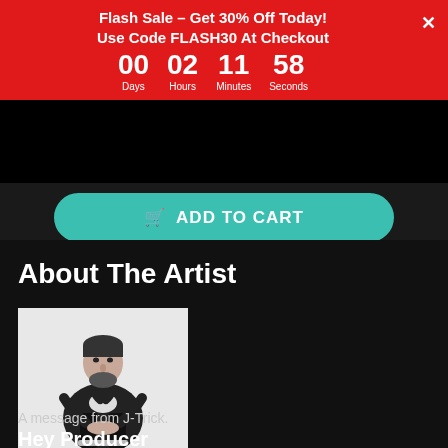Flash Sale – Get 30% Off Today!
Use Code FLASH30 At Checkout
00 Days  02 Hours  11 Minutes  58 Seconds
ADD TO CART
About The Artist
[Figure (photo): Black and white photo of a man (J-Trick) sitting, wearing a leather jacket, beard, posing against a white background]
A message from J-Trick.
Hey Producer